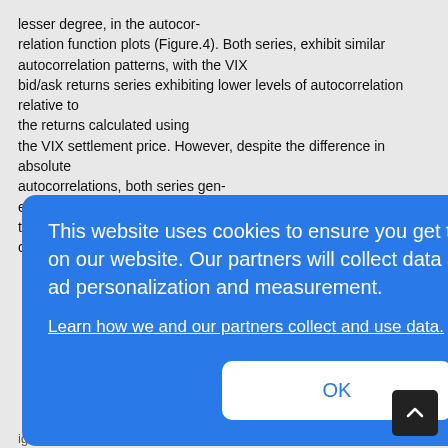lesser degree, in the autocorrelation function plots (Figure.4). Both series, exhibit similar autocorrelation patterns, with the VIX bid/ask returns series exhibiting lower levels of autocorrelation relative to the returns calculated using the VIX settlement price. However, despite the difference in absolute autocorrelations, both series generally exhibit statistically insignificant levels of autocorrelation with the only exception being the first
This website uses cookies to ensure you get the best experience on our website. Our partners will collect data and use cookies for ad personalization and measurement.
Learn how we and our partners collect and use data.
OK